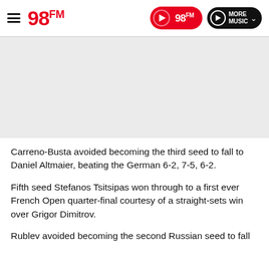98FM header with hamburger menu, 98FM logo, player pill, and More Music button
[Figure (other): Gray advertisement/image placeholder area]
Carreno-Busta avoided becoming the third seed to fall to Daniel Altmaier, beating the German 6-2, 7-5, 6-2.
Fifth seed Stefanos Tsitsipas won through to a first ever French Open quarter-final courtesy of a straight-sets win over Grigor Dimitrov.
Rublev avoided becoming the second Russian seed to fall